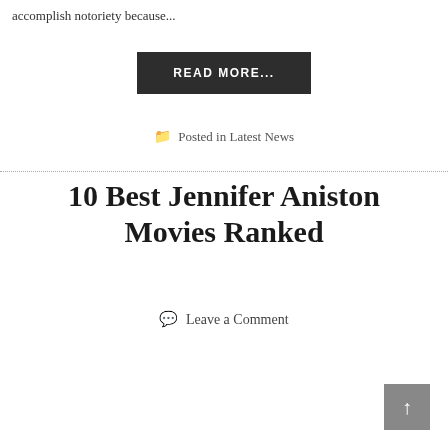accomplish notoriety because...
READ MORE...
Posted in Latest News
10 Best Jennifer Aniston Movies Ranked
Leave a Comment